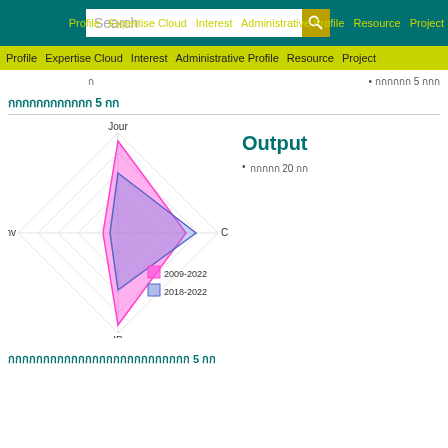Search | Profile | Expertise Cloud | Interest | Administrative Profile | Resource | Project
ก (Thai text)
กกกกกก 5 กกก
กกกกกกกกกกกก 5 กก
[Figure (radar-chart): Radar chart with axes: Jour, Conf, IP, Inv. Two data series: 2009-2022 (magenta/pink) and 2018-2022 (blue/purple). The 2009-2022 series shows larger extent especially toward Jour and IP axes. The 2018-2022 series is smaller and more toward Conf direction.]
Output
กกกกก 20 กก
กกกกกกกกกกกกกกกกกกกกกกกกกก 5 กก